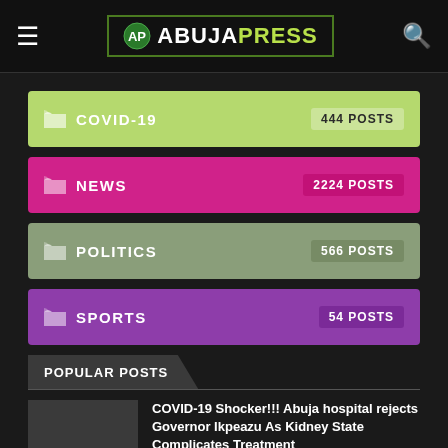AbujaPress
COVID-19 — 444 POSTS
NEWS — 2224 POSTS
POLITICS — 566 POSTS
SPORTS — 54 POSTS
POPULAR POSTS
COVID-19 Shocker!!! Abuja hospital rejects Governor Ikpeazu As Kidney State Complicates Treatment
June 10, 2020